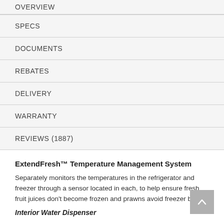OVERVIEW
SPECS
DOCUMENTS
REBATES
DELIVERY
WARRANTY
REVIEWS (1887)
ExtendFresh™ Temperature Management System
Separately monitors the temperatures in the refrigerator and freezer through a sensor located in each, to help ensure fresh fruit juices don't become frozen and prawns avoid freezer burn.
Interior Water Dispenser